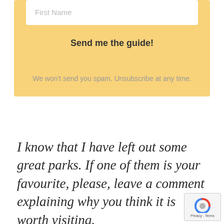[Figure (screenshot): Yellow form box with a First Name input field, a Send me the guide! button, and spam disclaimer text]
First Name
Send me the guide!
We won't send you spam. Unsubscribe at any time.
I know that I have left out some great parks. If one of them is your favourite, please, leave a comment explaining why you think it is worth visiting.